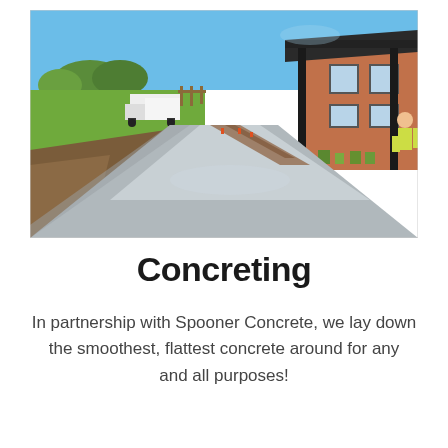[Figure (photo): A freshly laid concrete driveway or path stretching from the foreground to the background, flanked by disturbed soil and lawn on the left, and a brick building with potted plants on the right. A white truck is visible in the background on the left. A worker in high-vis is visible on the right near the building. Clear blue sky above.]
Concreting
In partnership with Spooner Concrete, we lay down the smoothest, flattest concrete around for any and all purposes!